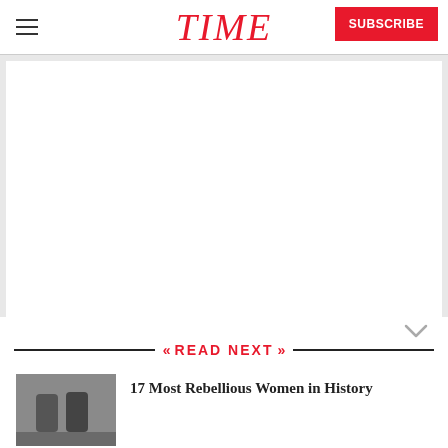TIME
[Figure (other): Large blank white content area below the header, representing a page or article image placeholder]
READ NEXT
17 Most Rebellious Women in History